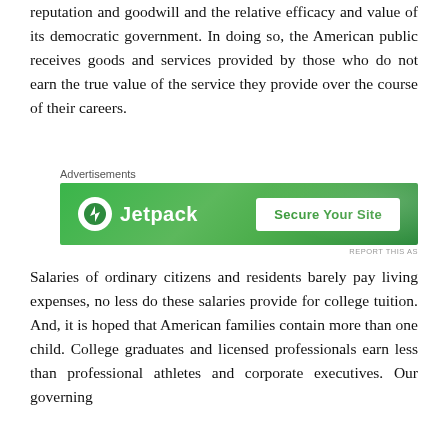reputation and goodwill and the relative efficacy and value of its democratic government. In doing so, the American public receives goods and services provided by those who do not earn the true value of the service they provide over the course of their careers.
[Figure (screenshot): Jetpack advertisement banner with green background. Left side shows Jetpack logo (lightning bolt icon in white circle) and text 'Jetpack'. Right side shows white button with green text 'Secure Your Site'. Small 'Advertisements' label above and 'REPORT THIS AS' link below.]
Salaries of ordinary citizens and residents barely pay living expenses, no less do these salaries provide for college tuition. And, it is hoped that American families contain more than one child. College graduates and licensed professionals earn less than professional athletes and corporate executives. Our governing